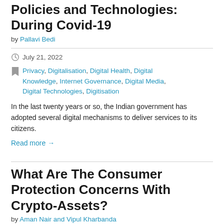Policies and Technologies: During Covid-19
by Pallavi Bedi
July 21, 2022
Privacy, Digitalisation, Digital Health, Digital Knowledge, Internet Governance, Digital Media, Digital Technologies, Digitisation
In the last twenty years or so, the Indian government has adopted several digital mechanisms to deliver services to its citizens.
Read more →
What Are The Consumer Protection Concerns With Crypto-Assets?
by Aman Nair and Vipul Kharbanda
July 18, 2022